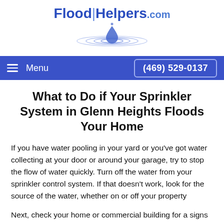[Figure (logo): FloodHelpers.com logo with water droplet ripple graphic and blue text]
Menu   (469) 529-0137
What to Do if Your Sprinkler System in Glenn Heights Floods Your Home
If you have water pooling in your yard or you've got water collecting at your door or around your garage, try to stop the flow of water quickly. Turn off the water from your sprinkler control system. If that doesn't work, look for the source of the water, whether on or off your property
Next, check your home or commercial building for any signs of interior water penetration. If you see watermarks